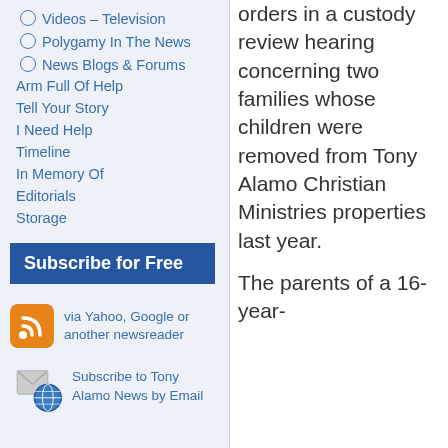Videos – Television
Polygamy In The News
News Blogs & Forums
Arm Full Of Help
Tell Your Story
I Need Help
Timeline
In Memory Of
Editorials
Storage
Subscribe for Free
via Yahoo, Google or another newsreader
Subscribe to Tony Alamo News by Email
orders in a custody review hearing concerning two families whose children were removed from Tony Alamo Christian Ministries properties last year.

The parents of a 16-year-